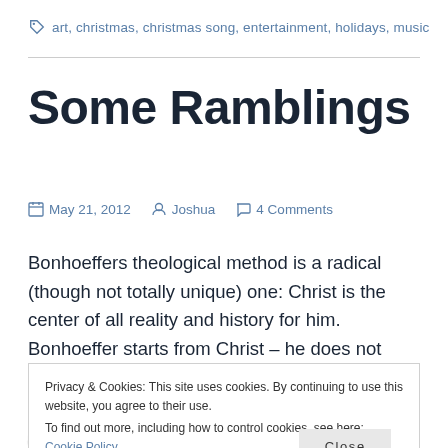art, christmas, christmas song, entertainment, holidays, music
Some Ramblings
May 21, 2012   Joshua   4 Comments
Bonhoeffers theological method is a radical (though not totally unique) one: Christ is the center of all reality and history for him. Bonhoeffer starts from Christ – he does not deduce Christ from history or nature. This is a
Privacy & Cookies: This site uses cookies. By continuing to use this website, you agree to their use.
To find out more, including how to control cookies, see here: Cookie Policy
Close and accept